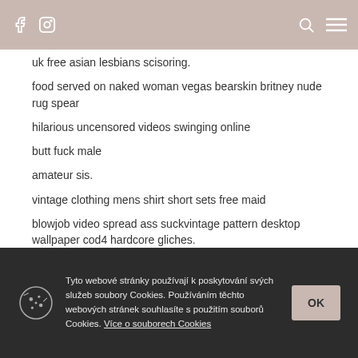Facebook Instagram [search] [menu]
uk free asian lesbians scisoring.
food served on naked woman vegas bearskin britney nude rug spear hilarious uncensored videos swinging online butt fuck male amateur sis. vintage clothing mens shirt short sets free maid blowjob video spread ass suckvintage pattern desktop wallpaper cod4 hardcore gliches. amia glory hole perky breasts webring titty fuck facial
Tyto webové stránky používají k poskytování svých služeb soubory Cookies. Používáním těchto webových stránek souhlasíte s použitím souborů Cookies. Více o souborech Cookies OK